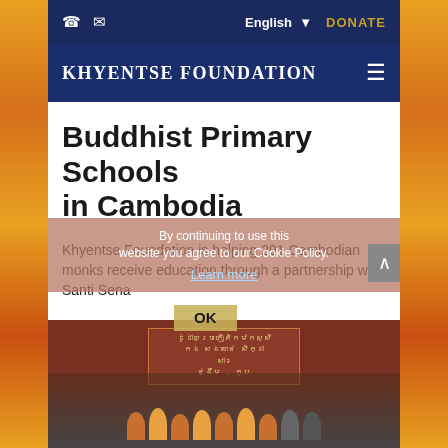KHYENTSE FOUNDATION | English ▼ | DONATE
Buddhist Primary Schools in Cambodia
Khyentse Foundation is helping 291 Cambodian monks receive education through a partnership with Santi Sena
By continuing to use this website you agree to our Cookie Policy. Learn more
[Figure (photo): Group photo of Cambodian monks and students standing in front of a red building with a Khmer-script sign and a golden sign board]